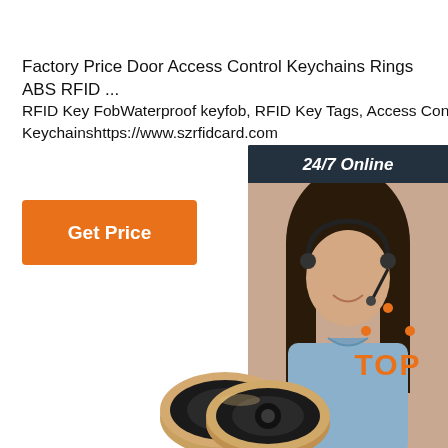Factory Price Door Access Control Keychains Rings ABS RFID ...
RFID Key FobWaterproof keyfob, RFID Key Tags, Access Control Keychainshttps://www.szrfidcard.com
[Figure (other): Customer service widget with dark background showing '24/7 Online' header, photo of smiling woman with headset, 'Click here for free chat!' text, and orange 'QUOTATION' button]
[Figure (other): Orange 'Get Price' button]
[Figure (logo): Orange 'TOP' logo with dot triangle above text]
[Figure (photo): Partial view of RFID key fob/coin tags at bottom of page]